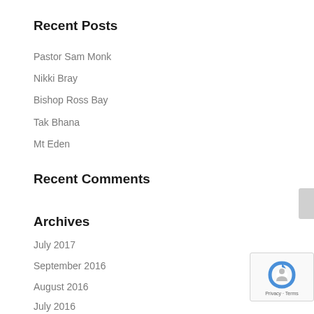Recent Posts
Pastor Sam Monk
Nikki Bray
Bishop Ross Bay
Tak Bhana
Mt Eden
Recent Comments
Archives
July 2017
September 2016
August 2016
July 2016